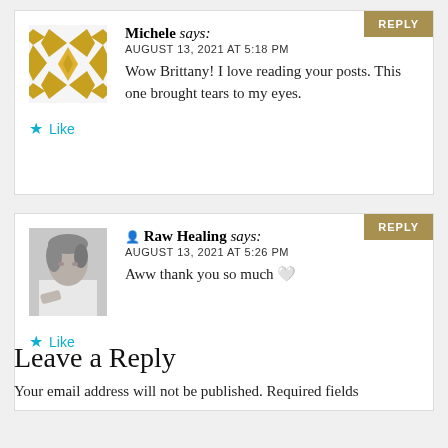Michele says: AUGUST 13, 2021 AT 5:18 PM Wow Brittany! I love reading your posts. This one brought tears to my eyes.
Like
Raw Healing says: AUGUST 13, 2021 AT 5:26 PM Aww thank you so much 🤍
Like
Leave a Reply
Your email address will not be published. Required fields